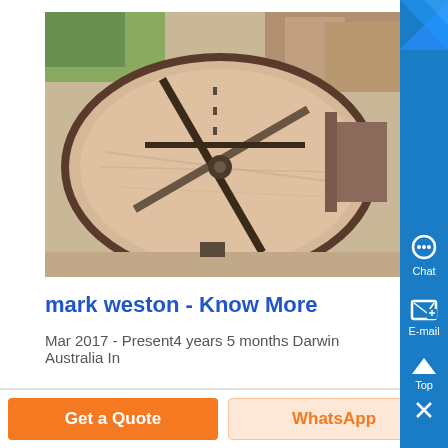[Figure (photo): Aerial view of a circular water treatment clarifier tank with a rotating bridge mechanism, industrial facility in background]
mark weston - Know More
Mar 2017 - Present4 years 5 months Darwin Australia In